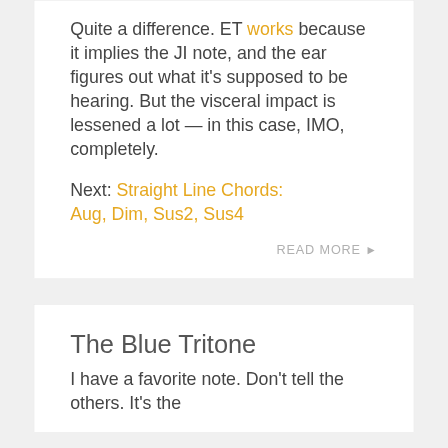Quite a difference. ET works because it implies the JI note, and the ear figures out what it's supposed to be hearing. But the visceral impact is lessened a lot — in this case, IMO, completely.
Next: Straight Line Chords: Aug, Dim, Sus2, Sus4
READ MORE ▶
The Blue Tritone
I have a favorite note. Don't tell the others. It's the